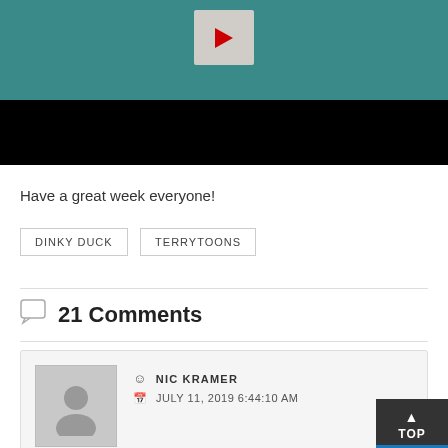[Figure (screenshot): Video thumbnail showing cartoon animation with teal background and characters, with a red YouTube play button area visible at top, and a black bar below]
Have a great week everyone!
DINKY DUCK
TERRYTOONS
21 Comments
NIC KRAMER
JULY 11, 2019 6:44:10 AM
Is this the only short to have a theme song for Dinky?